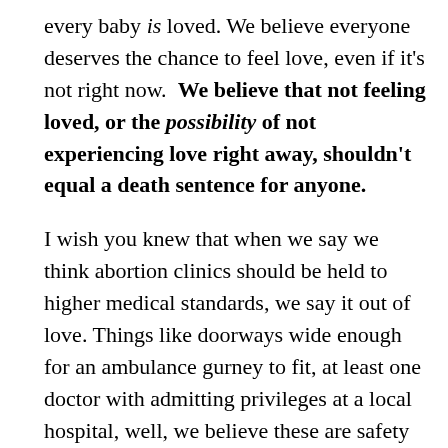every baby is loved. We believe everyone deserves the chance to feel love, even if it's not right now.  We believe that not feeling loved, or the possibility of not experiencing love right away, shouldn't equal a death sentence for anyone.
I wish you knew that when we say we think abortion clinics should be held to higher medical standards, we say it out of love. Things like doorways wide enough for an ambulance gurney to fit, at least one doctor with admitting privileges at a local hospital, well, we believe these are safety issues for anyone having any type of surgery. What we're trying to say is that if you do decide to go thru with